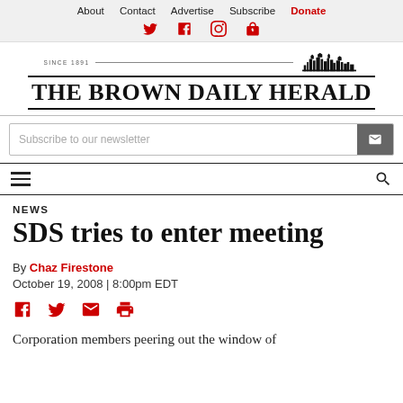About  Contact  Advertise  Subscribe  Donate
[Figure (logo): The Brown Daily Herald masthead logo with skyline illustration and 'SINCE 1891' text]
Subscribe to our newsletter
NEWS
SDS tries to enter meeting
By Chaz Firestone
October 19, 2008 | 8:00pm EDT
[Figure (infographic): Social share icons: Facebook, Twitter, Email, Print]
Corporation members peering out the window of